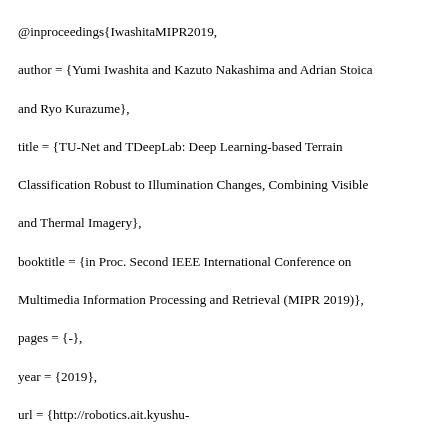@inproceedings{IwashitaMIPR2019,
author = {Yumi Iwashita and Kazuto Nakashima and Adrian Stoica and Ryo Kurazume},
title = {TU-Net and TDeepLab: Deep Learning-based Terrain Classification Robust to Illumination Changes, Combining Visible and Thermal Imagery},
booktitle = {in Proc. Second IEEE International Conference on Multimedia Information Processing and Retrieval (MIPR 2019)},
pages = {-},
year = {2019},
url = {http://robotics.ait.kyushu-u.ac.jp/kurazume/papers/IwashitaMIPR2019.pdf}
}
@inproceedings{YamadaSII2019,
author = {Hiroyuki Yamada and Tomoki Hiramatsu and Imai Masato and Akihiro Kawamura and Ryo Kurazume},
title = {Sensor terminal "Portable" for intelligent navigation of personal mobility robots in informationally structured environment},
booktitle = {in Proc. 2019 IEEE/SICE International Symposium on...